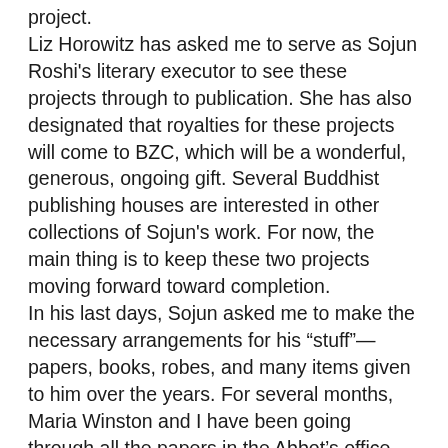project. Liz Horowitz has asked me to serve as Sojun Roshi's literary executor to see these projects through to publication. She has also designated that royalties for these projects will come to BZC, which will be a wonderful, generous, ongoing gift. Several Buddhist publishing houses are interested in other collections of Sojun's work. For now, the main thing is to keep these two projects moving forward toward completion. In his last days, Sojun asked me to make the necessary arrangements for his “stuff”—papers, books, robes, and many items given to him over the years. For several months, Maria Winston and I have been going through all the papers in the Abbot’s office, sorting them into three categories: material to keep for future reference and use; material to pack for the Stanford archive; and duplicates, triplicates, and unneeded material to discard. I have begun to work from this office, and it is a wonderful, relaxed space for writing, studying, and